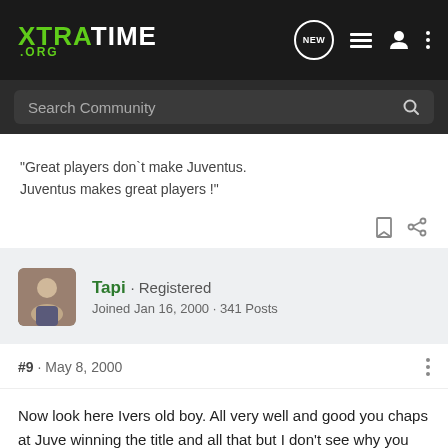XTRATIME .ORG — navigation bar with Search Community search box
"Great players don`t make Juventus. Juventus makes great players !"
Tapi · Registered
Joined Jan 16, 2000 · 341 Posts
#9 · May 8, 2000
Now look here Ivers old boy. All very well and good you chaps at Juve winning the title and all that but I don't see why you must cast aspertions on Milan's win of last season. As a Milan